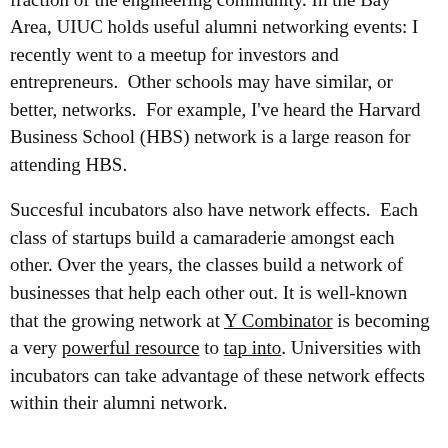has given me something in common with a meaningful fraction of the engineering community. In the Bay Area, UIUC holds useful alumni networking events: I recently went to a meetup for investors and entrepreneurs.  Other schools may have similar, or better, networks.  For example, I've heard the Harvard Business School (HBS) network is a large reason for attending HBS.
Succesful incubators also have network effects.  Each class of startups build a camaraderie amongst each other. Over the years, the classes build a network of businesses that help each other out. It is well-known that the growing network at Y Combinator is becoming a very powerful resource to tap into. Universities with incubators can take advantage of these network effects within their alumni network.